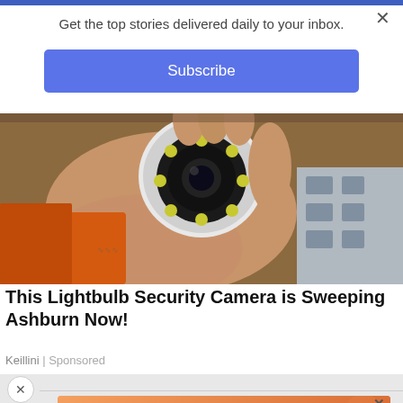Get the top stories delivered daily to your inbox.
Subscribe
[Figure (photo): Hand holding a white lightbulb security camera with LED ring, with orange tools and cardboard box in background]
This Lightbulb Security Camera is Sweeping Ashburn Now!
Keillini | Sponsored
[Figure (screenshot): Mobile game advertisement with orange/pink background showing text 'Love this game Can't stop playing!' and a green 'Download Now' button with colorful game elements and 'Bubble Shooter Animal World' branding]